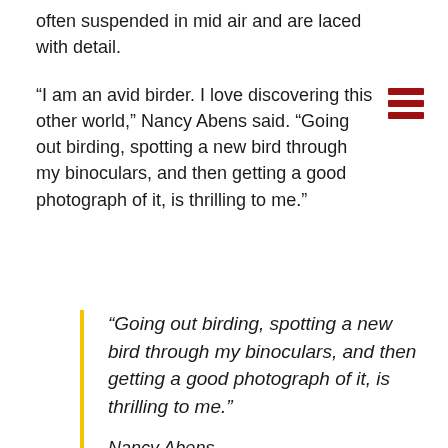often suspended in mid air and are laced with detail.

“I am an avid birder. I love discovering this other world,” Nancy Abens said. “Going out birding, spotting a new bird through my binoculars, and then getting a good photograph of it, is thrilling to me.”
“Going out birding, spotting a new bird through my binoculars, and then getting a good photograph of it, is thrilling to me.”

Nancy Abens